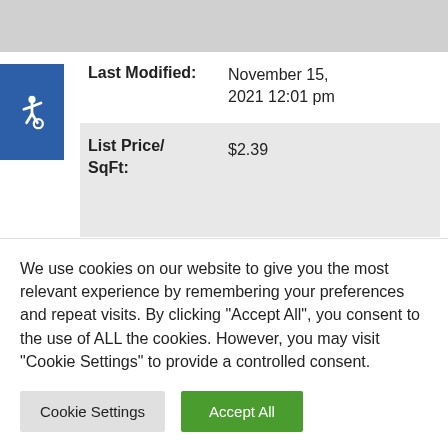[Figure (screenshot): Partial gray image/header area at top of page]
[Figure (illustration): Blue accessibility (wheelchair) icon button on left side]
Last Modified: November 15, 2021 12:01 pm
| List Price/ SqFt: | $2.39 |
Listing Date: November 15
We use cookies on our website to give you the most relevant experience by remembering your preferences and repeat visits. By clicking "Accept All", you consent to the use of ALL the cookies. However, you may visit "Cookie Settings" to provide a controlled consent.
Cookie Settings | Accept All